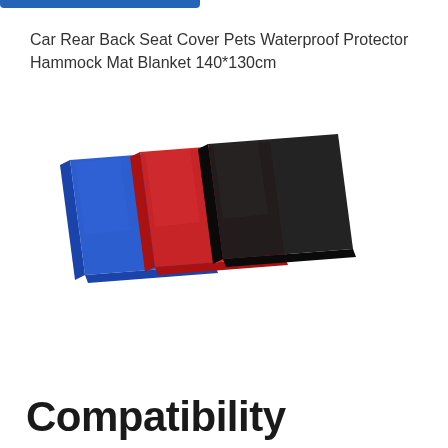Car Rear Back Seat Cover Pets Waterproof Protector Hammock Mat Blanket 140*130cm
[Figure (photo): Three folded car seat cover mats in blue, red, and black colors, displayed overlapping each other on a white background.]
Compatibility